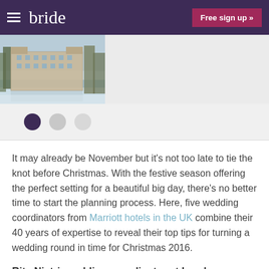bride  Free sign up »
[Figure (photo): Winter exterior photo of a large stone manor/hotel building with snow on the ground and trees in the background, reflecting in water]
It may already be November but it's not too late to tie the knot before Christmas. With the festive season offering the perfect setting for a beautiful big day, there's no better time to start the planning process. Here, five wedding coordinators from Marriott hotels in the UK combine their 40 years of expertise to reveal their top tips for turning a wedding round in time for Christmas 2016.
Rita Nistri, wedding coordinator at London Marriott Hotel County Hall: